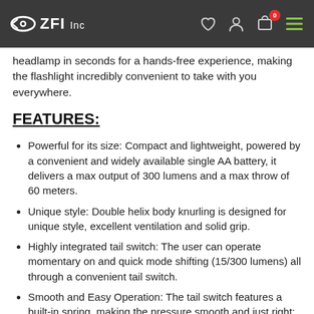ZFI Inc
headlamp in seconds for a hands-free experience, making the flashlight incredibly convenient to take with you everywhere.
FEATURES:
Powerful for its size: Compact and lightweight, powered by a convenient and widely available single AA battery, it delivers a max output of 300 lumens and a max throw of 60 meters.
Unique style: Double helix body knurling is designed for unique style, excellent ventilation and solid grip.
Highly integrated tail switch: The user can operate momentary on and quick mode shifting (15/300 lumens) all through a convenient tail switch.
Smooth and Easy Operation: The tail switch features a built-in spring, making the pressure smooth and just right; Embedded with small pearls